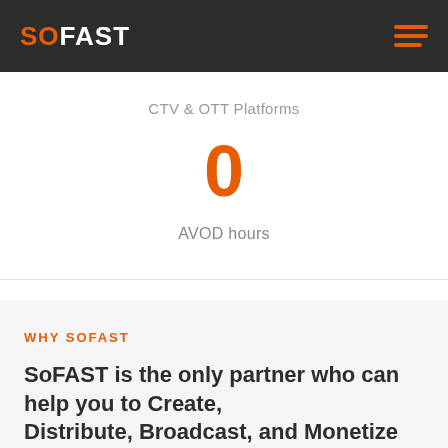SOFAST
CTV & OTT Platforms
0
AVOD hours
WHY SOFAST
SoFAST is the only partner who can help you to Create, Distribute, Broadcast, and Monetize